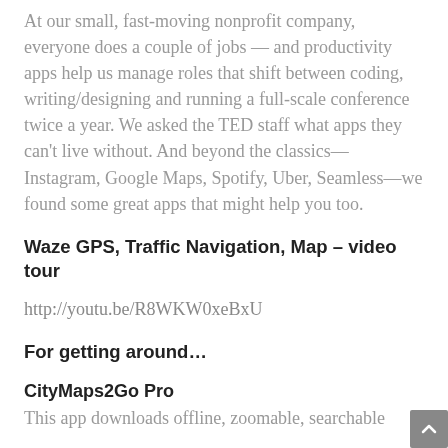At our small, fast-moving nonprofit company, everyone does a couple of jobs — and productivity apps help us manage roles that shift between coding, writing/designing and running a full-scale conference twice a year. We asked the TED staff what apps they can't live without. And beyond the classics—Instagram, Google Maps, Spotify, Uber, Seamless—we found some great apps that might help you too.
Waze GPS, Traffic Navigation, Map – video tour
http://youtu.be/R8WKW0xeBxU
For getting around…
CityMaps2Go Pro
This app downloads offline, zoomable, searchable